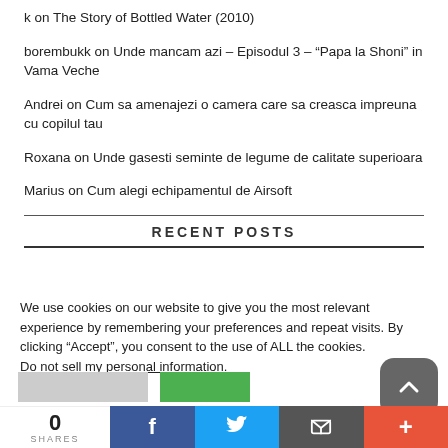k on The Story of Bottled Water (2010)
borembukk on Unde mancam azi – Episodul 3 – “Papa la Shoni” in Vama Veche
Andrei on Cum sa amenajezi o camera care sa creasca impreuna cu copilul tau
Roxana on Unde gasesti seminte de legume de calitate superioara
Marius on Cum alegi echipamentul de Airsoft
RECENT POSTS
We use cookies on our website to give you the most relevant experience by remembering your preferences and repeat visits. By clicking “Accept”, you consent to the use of ALL the cookies.
Do not sell my personal information.
0 SHARES